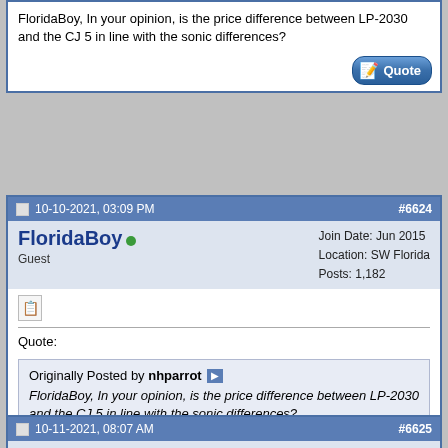FloridaBoy, In your opinion, is the price difference between LP-2030 and the CJ 5 in line with the sonic differences?
10-10-2021, 03:09 PM  #6624
FloridaBoy  Guest  Join Date: Jun 2015  Location: SW Florida  Posts: 1,182
Quote: Originally Posted by nhparrot FloridaBoy, In your opinion, is the price difference between LP-2030 and the CJ 5 in line with the sonic differences?
I'm in Naples, FL. So, come down and have a listen, then decide for yourself. :thumbs-up:

Do you post on other forums?
10-11-2021, 08:07 AM  #6625
nhparrot  Join Date: Apr 2014